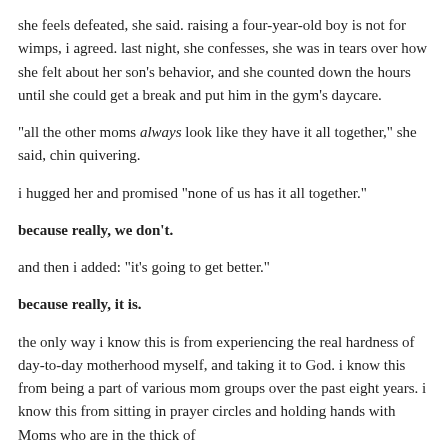she feels defeated, she said. raising a four-year-old boy is not for wimps, i agreed. last night, she confesses, she was in tears over how she felt about her son's behavior, and she counted down the hours until she could get a break and put him in the gym's daycare.
"all the other moms always look like they have it all together," she said, chin quivering.
i hugged her and promised "none of us has it all together."
because really, we don't.
and then i added: "it's going to get better."
because really, it is.
the only way i know this is from experiencing the real hardness of day-to-day motherhood myself, and taking it to God. i know this from being a part of various mom groups over the past eight years. i know this from sitting in prayer circles and holding hands with Moms who are in the thick of